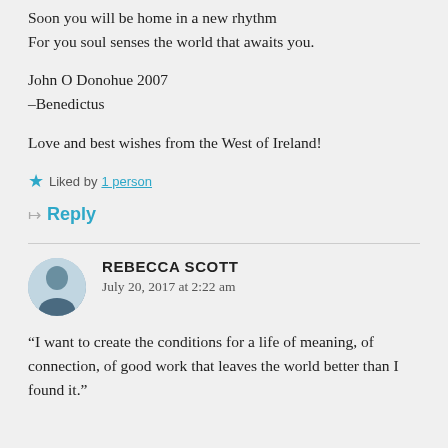Soon you will be home in a new rhythm
For you soul senses the world that awaits you.
John O Donohue 2007
–Benedictus
Love and best wishes from the West of Ireland!
★ Liked by 1 person
↦ Reply
REBECCA SCOTT
July 20, 2017 at 2:22 am
“I want to create the conditions for a life of meaning, of connection, of good work that leaves the world better than I found it.”